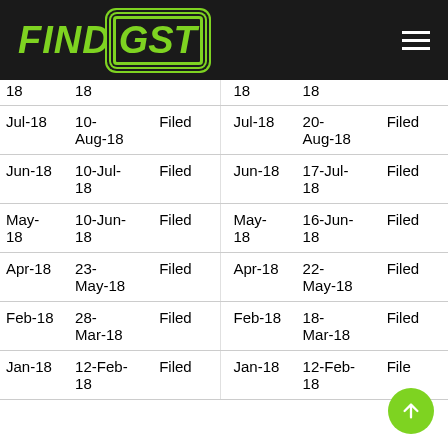FINDGST
| 18 | 18 |  | 18 | 18 |  |
| Jul-18 | 10-Aug-18 | Filed | Jul-18 | 20-Aug-18 | Filed |
| Jun-18 | 10-Jul-18 | Filed | Jun-18 | 17-Jul-18 | Filed |
| May-18 | 10-Jun-18 | Filed | May-18 | 16-Jun-18 | Filed |
| Apr-18 | 23-May-18 | Filed | Apr-18 | 22-May-18 | Filed |
| Feb-18 | 28-Mar-18 | Filed | Feb-18 | 18-Mar-18 | Filed |
| Jan-18 | 12-Feb-18 | Filed | Jan-18 | 12-Feb-18 | Filed |